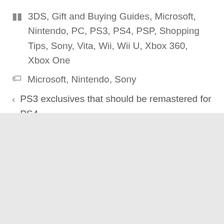3DS, Gift and Buying Guides, Microsoft, Nintendo, PC, PS3, PS4, PSP, Shopping Tips, Sony, Vita, Wii, Wii U, Xbox 360, Xbox One
Microsoft, Nintendo, Sony
PS3 exclusives that should be remastered for PS4
Generic P3 Controller: Is the alternative to Dual Shock 3 worth buying?